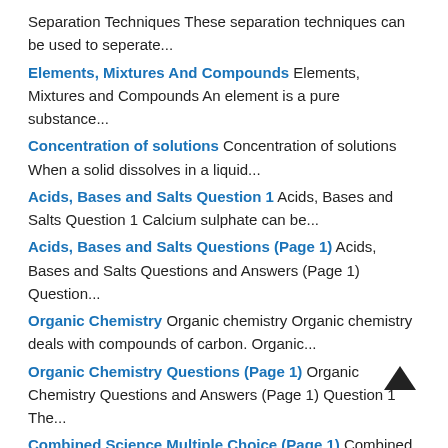Separation Techniques These separation techniques can be used to seperate...
Elements, Mixtures And Compounds Elements, Mixtures and Compounds An element is a pure substance...
Concentration of solutions Concentration of solutions When a solid dissolves in a liquid...
Acids, Bases and Salts Question 1 Acids, Bases and Salts Question 1 Calcium sulphate can be...
Acids, Bases and Salts Questions (Page 1) Acids, Bases and Salts Questions and Answers (Page 1) Question...
Organic Chemistry Organic chemistry Organic chemistry deals with compounds of carbon. Organic...
Organic Chemistry Questions (Page 1) Organic Chemistry Questions and Answers (Page 1) Question 1 The...
Combined Science Multiple Choice (Page 1) Combined Science Chemistry Section Multiple Choice (Page 1) The diagram...